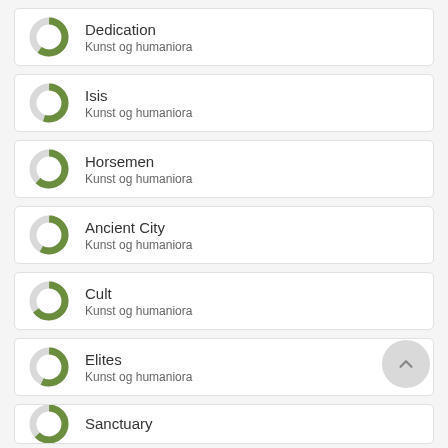Dedication — Kunst og humaniora
Isis — Kunst og humaniora
Horsemen — Kunst og humaniora
Ancient City — Kunst og humaniora
Cult — Kunst og humaniora
Elites — Kunst og humaniora
Sanctuary — Kunst og humaniora